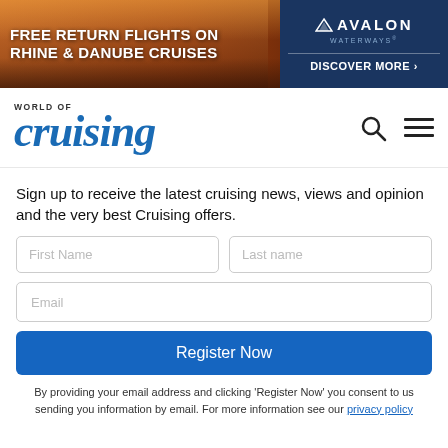[Figure (infographic): Avalon Waterways banner advertisement: 'FREE RETURN FLIGHTS ON RHINE & DANUBE CRUISES' with castle/river background image and 'DISCOVER MORE >' call to action on dark blue right panel with Avalon Waterways logo.]
[Figure (logo): World of Cruising logo in blue italic serif font with search and hamburger menu icons.]
Sign up to receive the latest cruising news, views and opinion and the very best Cruising offers.
First Name
Last name
Email
Register Now
By providing your email address and clicking 'Register Now' you consent to us sending you information by email. For more information see our privacy policy